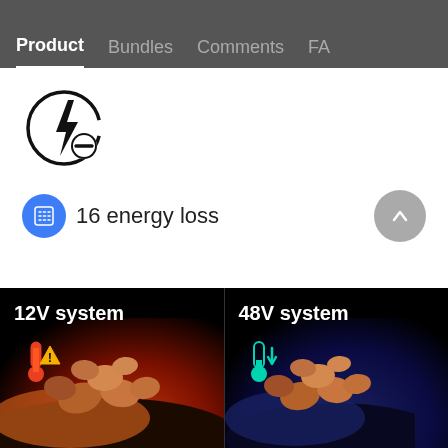Product  Bundles  Comments  FAQ
[Figure (illustration): Lightning bolt inside a circle with a minus/no symbol, representing energy loss or power cut-off icon]
16 energy loss
[Figure (photo): 12V system panel: red/orange thermometer with warning triangle icon, and a close-up photo of a copper cable cross-section on dark background]
[Figure (photo): 48V system panel: green thermometer with down-arrow icon, and a close-up photo of a copper cable cross-section on dark background]